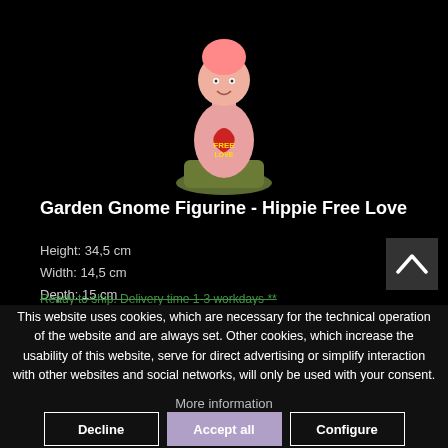[Figure (photo): Garden gnome figurine - Hippie Free Love product photo on black background]
Garden Gnome Figurine - Hippie Free Love
Height: 34,5 cm
Width: 14,5 cm
Depth: 15 cm
Ready to ship. Delivery time 1-3 workdays **
This website uses cookies, which are necessary for the technical operation of the website and are always set. Other cookies, which increase the usability of this website, serve for direct advertising or simplify interaction with other websites and social networks, will only be used with your consent.
More information
Decline | Accept all | Configure